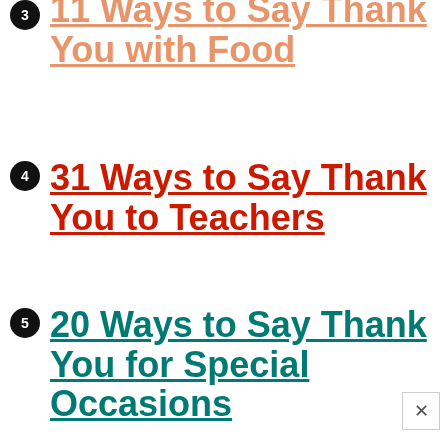11 Ways to Say Thank You with Food
31 Ways to Say Thank You to Teachers
20 Ways to Say Thank You for Special Occasions